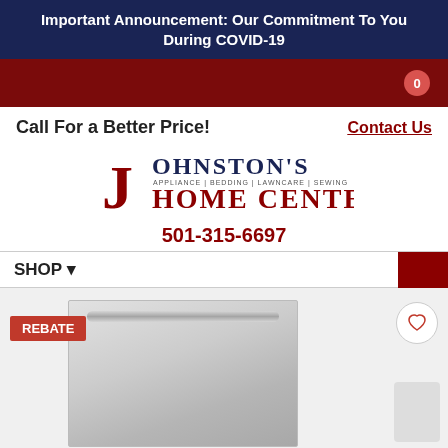Important Announcement: Our Commitment To You During COVID-19
Call For a Better Price!  Contact Us
[Figure (logo): Johnston's Home Center logo with large J and text JOHNSTON'S APPLIANCE | BEDDING | LAWNCARE | SEWING HOME CENTER]
501-315-6697
SHOP
[Figure (photo): Stainless steel dishwasher product image with REBATE badge and heart/wishlist icon]